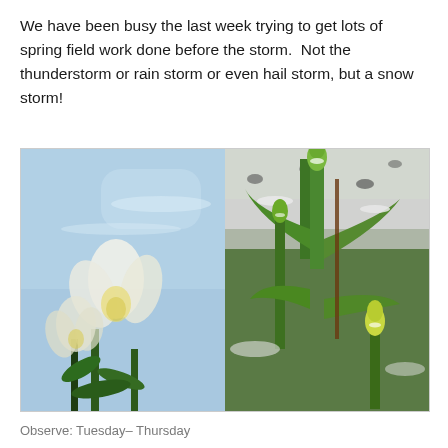We have been busy the last week trying to get lots of spring field work done before the storm.  Not the thunderstorm or rain storm or even hail storm, but a snow storm!
[Figure (photo): Two side-by-side photos of tulips. Left photo shows white and yellow tulips blooming against a light blue sky. Right photo shows yellow-green tulip buds covered in snow with green leaves visible.]
Observe: Tuesday– Thursday